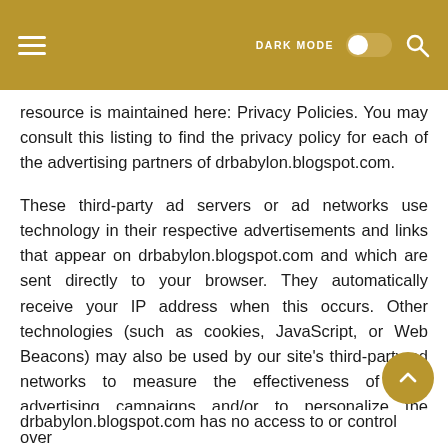DARK MODE [toggle] [search]
resource is maintained here: Privacy Policies. You may consult this listing to find the privacy policy for each of the advertising partners of drbabylon.blogspot.com.
These third-party ad servers or ad networks use technology in their respective advertisements and links that appear on drbabylon.blogspot.com and which are sent directly to your browser. They automatically receive your IP address when this occurs. Other technologies (such as cookies, JavaScript, or Web Beacons) may also be used by our site's third-party ad networks to measure the effectiveness of their advertising campaigns and/or to personalize the advertising content that you see on the site.
drbabylon.blogspot.com has no access to or control over